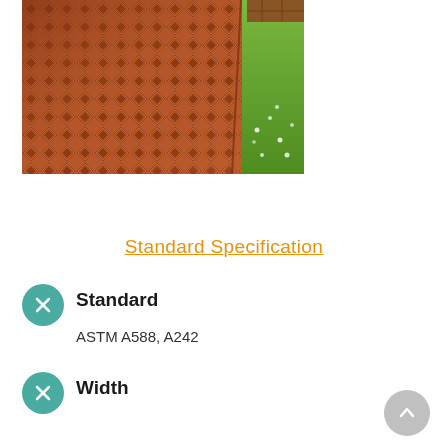[Figure (photo): Close-up photograph of a corten steel panel with a diamond/pyramid embossed texture pattern in rusty orange-brown color. Part of a green grassy area is visible on the right side.]
Standard Specification
Standard
ASTM A588, A242
Width